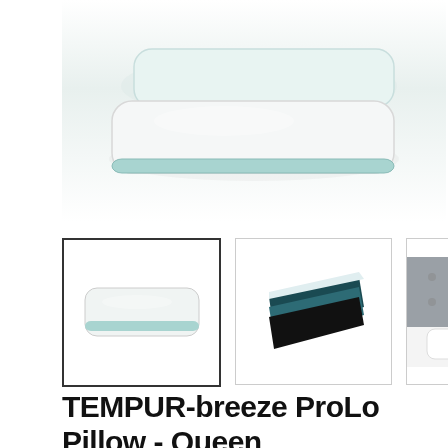[Figure (photo): Main product photo of TEMPUR-breeze ProLo Pillow – Queen, shown as a white rectangular pillow with light blue/teal trim, on a white background, with another pillow slightly behind it]
[Figure (photo): Thumbnail 1: same product photo of white pillow with light blue trim, selected state with dark border]
[Figure (photo): Thumbnail 2: cross-section/exploded view of pillow showing internal layers including dark teal and black foam layers]
[Figure (photo): Thumbnail 3: lifestyle photo of the pillow on a bed with a grey tufted headboard and bedside lamp]
TEMPUR-breeze ProLo Pillow - Queen
Tempur-Breeze Prolo Pillow